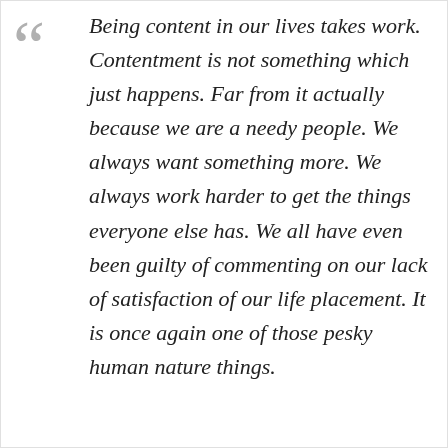Being content in our lives takes work. Contentment is not something which just happens. Far from it actually because we are a needy people. We always want something more. We always work harder to get the things everyone else has. We all have even been guilty of commenting on our lack of satisfaction of our life placement. It is once again one of those pesky human nature things.